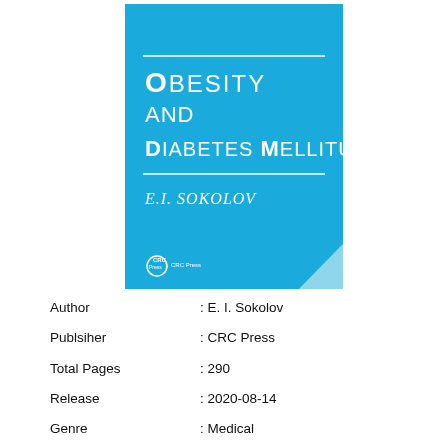[Figure (illustration): Book cover for 'Obesity and Diabetes Mellitus' by E.I. Sokolov, published by CRC Press. Blue background with white text showing title and author, with a page-curl effect in the bottom right corner and CRC Press logo at the bottom left.]
Author : E. I. Sokolov
Publsiher : CRC Press
Total Pages : 290
Release : 2020-08-14
Genre : Medical
ISBN : 9781000100757